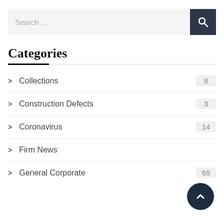Search ...
Categories
Collections  8
Construction Defects  3
Coronavirus  14
Firm News
General Corporate  69